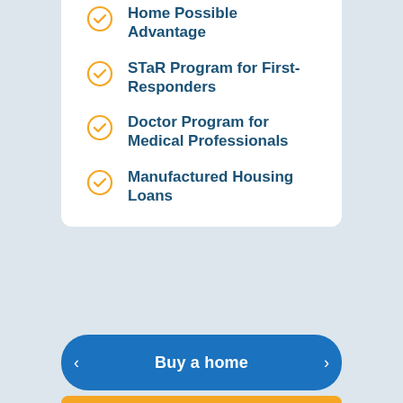Home Possible Advantage
STaR Program for First-Responders
Doctor Program for Medical Professionals
Manufactured Housing Loans
Buy a home